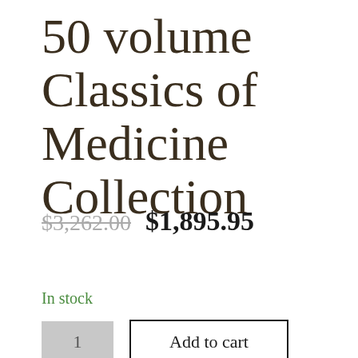50 volume Classics of Medicine Collection
$3,262.00  $1,895.95
In stock
1  Add to cart